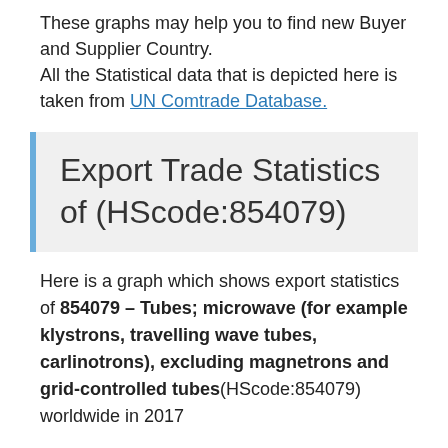These graphs may help you to find new Buyer and Supplier Country.
All the Statistical data that is depicted here is taken from UN Comtrade Database.
Export Trade Statistics of (HScode:854079)
Here is a graph which shows export statistics of 854079 – Tubes; microwave (for example klystrons, travelling wave tubes, carlinotrons), excluding magnetrons and grid-controlled tubes(HScode:854079) worldwide in 2017